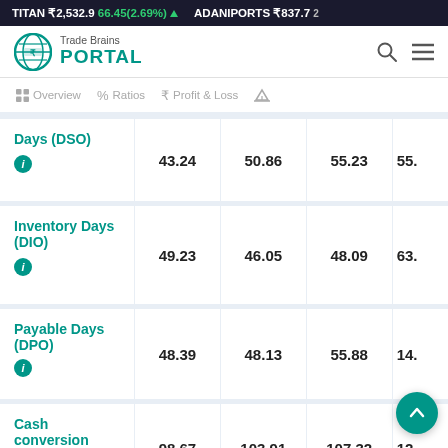TITAN ₹2,532.9 66.45(2.69%) ▲  ADANIPORTS ₹837.7
[Figure (logo): Trade Brains Portal logo with teal globe icon]
Overview  Ratios  Profit & Loss
| Metric | Col1 | Col2 | Col3 | Col4 |
| --- | --- | --- | --- | --- |
| Days (DSO) | 43.24 | 50.86 | 55.23 | 55. |
| Inventory Days (DIO) | 49.23 | 46.05 | 48.09 | 63. |
| Payable Days (DPO) | 48.39 | 48.13 | 55.88 | 14. |
| Cash conversion | 98.67 | 103.91 | 107.32 | 12. |